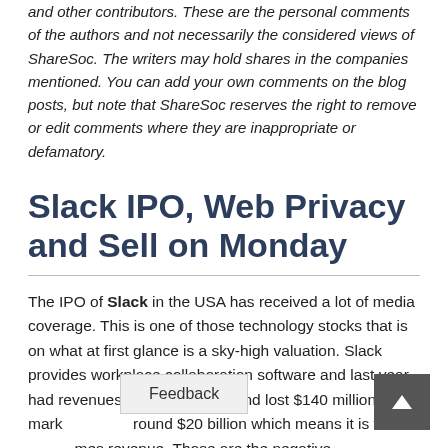and other contributors. These are the personal comments of the authors and not necessarily the considered views of ShareSoc. The writers may hold shares in the companies mentioned. You can add your own comments on the blog posts, but note that ShareSoc reserves the right to remove or edit comments where they are inappropriate or defamatory.
Slack IPO, Web Privacy and Sell on Monday
The IPO of Slack in the USA has received a lot of media coverage. This is one of those technology stocks that is on what at first glance is a sky-high valuation. Slack provides workplace collaboration software and last year had revenues of $400 million, and lost $140 million. The market cap is around $20 billion which means it is valued at 50 times revenue. Those are the negative